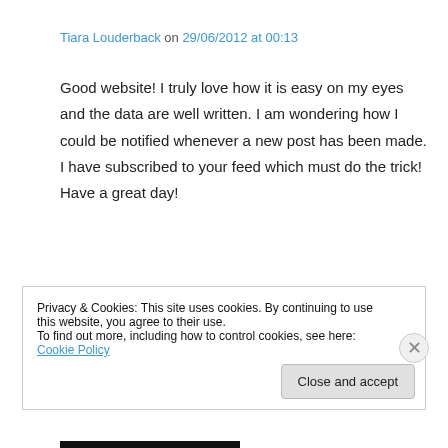Tiara Louderback on 29/06/2012 at 00:13
Good website! I truly love how it is easy on my eyes and the data are well written. I am wondering how I could be notified whenever a new post has been made. I have subscribed to your feed which must do the trick! Have a great day!
★ Like
Privacy & Cookies: This site uses cookies. By continuing to use this website, you agree to their use.
To find out more, including how to control cookies, see here: Cookie Policy
Close and accept